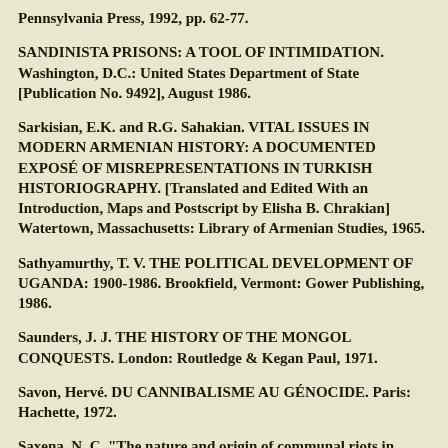Pennsylvania Press, 1992, pp. 62-77.
SANDINISTA PRISONS: A TOOL OF INTIMIDATION. Washington, D.C.: United States Department of State [Publication No. 9492], August 1986.
Sarkisian, E.K. and R.G. Sahakian. VITAL ISSUES IN MODERN ARMENIAN HISTORY: A DOCUMENTED EXPOSÉ OF MISREPRESENTATIONS IN TURKISH HISTORIOGRAPHY. [Translated and Edited With an Introduction, Maps and Postscript by Elisha B. Chrakian] Watertown, Massachusetts: Library of Armenian Studies, 1965.
Sathyamurthy, T. V. THE POLITICAL DEVELOPMENT OF UGANDA: 1900-1986. Brookfield, Vermont: Gower Publishing, 1986.
Saunders, J. J. THE HISTORY OF THE MONGOL CONQUESTS. London: Routledge & Kegan Paul, 1971.
Savon, Hervé. DU CANNIBALISME AU GÉNOCIDE. Paris: Hachette, 1972.
Saxena, N. C. "The nature and origin of communal riots in India." In COMMUNAL RIOTS IN POST-INDEPENDENCE